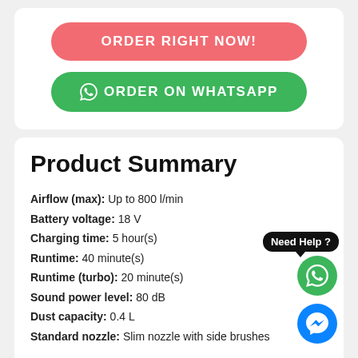[Figure (screenshot): Red pill-shaped button with white bold uppercase text ORDER RIGHT NOW!]
[Figure (screenshot): Green pill-shaped button with WhatsApp icon and white bold uppercase text ORDER ON WHATSAPP]
Product Summary
Airflow (max): Up to 800 l/min
Battery voltage: 18 V
Charging time: 5 hour(s)
Runtime: 40 minute(s)
Runtime (turbo): 20 minute(s)
Sound power level: 80 dB
Dust capacity: 0.4 L
Standard nozzle: Slim nozzle with side brushes
Condition: Brand New
Delivery: 1-2 Working Days
Warranty: Original Brand Warranty